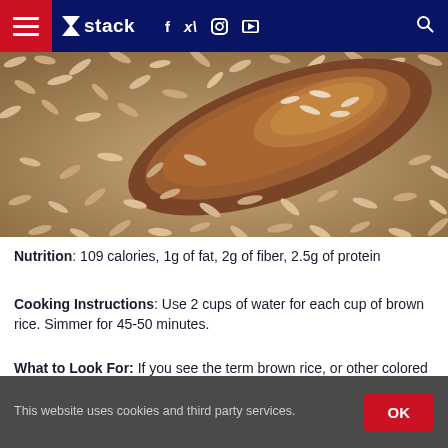stack
[Figure (photo): Close-up photo of brown rice grains with a wooden spoon scooping rice]
Nutrition: 109 calories, 1g of fat, 2g of fiber, 2.5g of protein
Cooking Instructions: Use 2 cups of water for each cup of brown rice. Simmer for 45-50 minutes.
What to Look For: If you see the term brown rice, or other colored rices such as black or red, it's whole grain.
This website uses cookies and third party services.